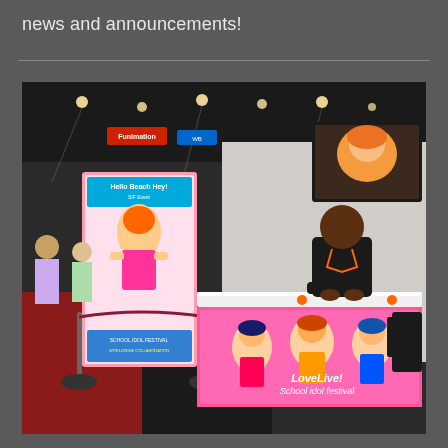news and announcements!
[Figure (photo): A person sitting behind a white table at a convention booth. The front of the table has a colorful 'Love Live! School idol festival' anime banner with multiple anime girl characters. Behind the person is a large promotional poster for a game, and to the upper right is a TV screen showing anime content. The convention floor is visible in the background with red carpet and other booths. The person is wearing a black t-shirt and an orange lanyard.]